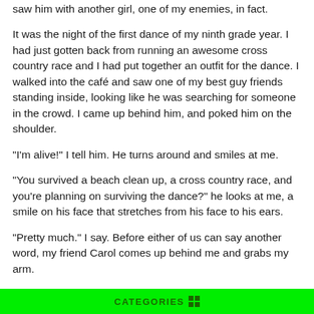saw him with another girl, one of my enemies, in fact.
It was the night of the first dance of my ninth grade year. I had just gotten back from running an awesome cross country race and I had put together an outfit for the dance. I walked into the café and saw one of my best guy friends standing inside, looking like he was searching for someone in the crowd. I came up behind him, and poked him on the shoulder.
"I'm alive!" I tell him. He turns around and smiles at me.
"You survived a beach clean up, a cross country race, and you're planning on surviving the dance?" he looks at me, a smile on his face that stretches from his face to his ears.
"Pretty much." I say. Before either of us can say another word, my friend Carol comes up behind me and grabs my arm.
"C'mon Emily!" she shouts "We gotta go dance!" She starts
CATEGORIES